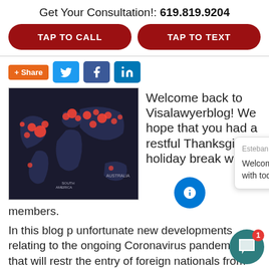Get Your Consultation!: 619.819.9204
TAP TO CALL
TAP TO TEXT
[Figure (screenshot): Social share buttons: +Share, Twitter, Facebook, LinkedIn]
[Figure (map): World map with red hotspots indicating COVID-19 spread]
Welcome back to Visalawyerblog! We hope that you had a restful Thanksgiving holiday break with
members.
In this blog p... unfortunate new developments relating to the ongoing Coronavirus pandemic that will restr... the entry of foreign nationals from certain countries to the United States.